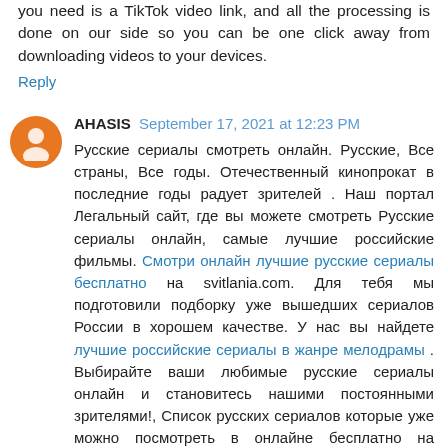you need is a TikTok video link, and all the processing is done on our side so you can be one click away from downloading videos to your devices.
Reply
AHASIS  September 17, 2021 at 12:23 PM
Русские сериалы смотреть онлайн. Русские, Все страны, Все годы. Отечественный кинопрокат в последние годы радует зрителей . Наш портал Легальный сайт, где вы можете смотреть Русские сериалы онлайн, самые лучшие российские фильмы. Смотри онлайн лучшие русские сериалы бесплатно на svitlania.com. Для тебя мы подготовили подборку уже вышедших сериалов России в хорошем качестве. У нас вы найдете лучшие российские сериалы в жанре мелодрамы . Выбирайте ваши любимые русские сериалы онлайн и становитесь нашими постоянными зрителями!, Список русских сериалов которые уже можно посмотреть в онлайне бесплатно на компьютере, планшете и телефоне.
Reply